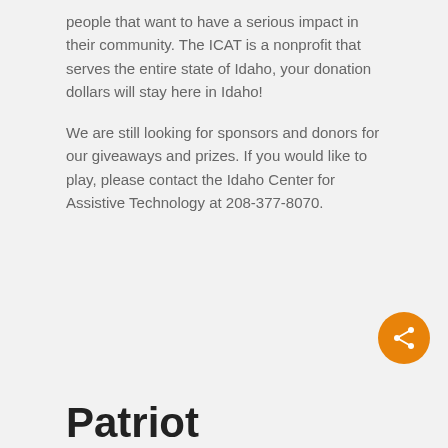people that want to have a serious impact in their community. The ICAT is a nonprofit that serves the entire state of Idaho, your donation dollars will stay here in Idaho!
We are still looking for sponsors and donors for our giveaways and prizes. If you would like to play, please contact the Idaho Center for Assistive Technology at 208-377-8070.
[Figure (other): Orange circular share button with share icon]
Patriot